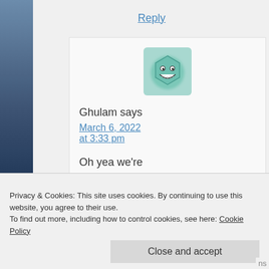Reply
[Figure (illustration): Avatar icon: a cartoon teal/green hexagonal face with a big grin and dot eyes]
Ghulam says
March 6, 2022 at 3:33 pm
Oh yea we're almost
have a round
Privacy & Cookies: This site uses cookies. By continuing to use this website, you agree to their use.
To find out more, including how to control cookies, see here: Cookie Policy
Close and accept
ns